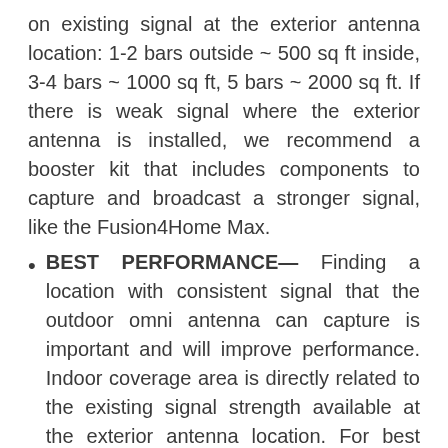on existing signal at the exterior antenna location: 1-2 bars outside ~ 500 sq ft inside, 3-4 bars ~ 1000 sq ft, 5 bars ~ 2000 sq ft. If there is weak signal where the exterior antenna is installed, we recommend a booster kit that includes components to capture and broadcast a stronger signal, like the Fusion4Home Max.
BEST PERFORMANCE— Finding a location with consistent signal that the outdoor omni antenna can capture is important and will improve performance. Indoor coverage area is directly related to the existing signal strength available at the exterior antenna location. For best performance we recommend a minimum 30 feet of horizontal separation between the base station and exterior antenna. Without this separation performance will suffer and the coverage